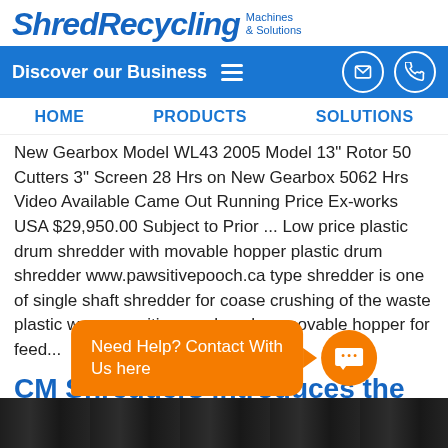ShredRecycling Machines & Solutions
Discover our Business
HOME   PRODUCTS   SOLUTIONS
New Gearbox Model WL43 2005 Model 13" Rotor 50 Cutters 3" Screen 28 Hrs on New Gearbox 5062 Hrs Video Available Came Out Running Price Ex-works USA $29,950.00 Subject to Prior ... Low price plastic drum shredder with movable hopper plastic drum shredder www.pawsitivepooch.ca type shredder is one of single shaft shredder for coase crushing of the waste plastic www.pawsitivepooch.ca has movable hopper for feed...
CM Shredders introduces the SOLO Series single shaft shredder
Need Help? Contact With Us here